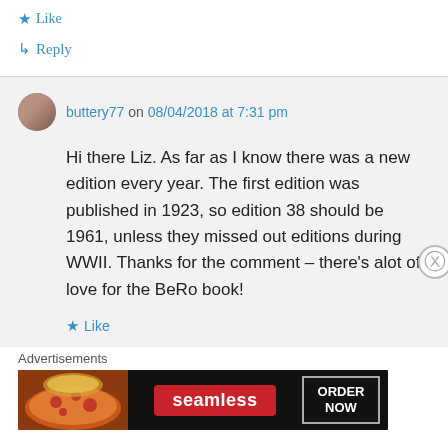★ Like
↳ Reply
buttery77 on 08/04/2018 at 7:31 pm
Hi there Liz. As far as I know there was a new edition every year. The first edition was published in 1923, so edition 38 should be 1961, unless they missed out editions during WWII. Thanks for the comment – there's alot of love for the BeRo book!
★ Like
Advertisements
[Figure (other): Seamless food delivery advertisement banner showing pizza image on the left, Seamless logo in red pill shape in center, and ORDER NOW text in bordered box on right, all on dark background]